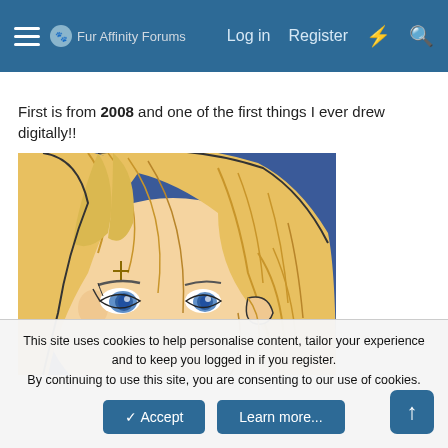Fur Affinity Forums  Log in  Register
First is from 2008 and one of the first things I ever drew digitally!!
[Figure (illustration): A digital drawing of an anime-style female character with long blonde hair and blue eyes, close-up portrait view with a blue background. The art style is amateur manga/anime digital art from 2008.]
This site uses cookies to help personalise content, tailor your experience and to keep you logged in if you register. By continuing to use this site, you are consenting to our use of cookies.
Accept  Learn more...